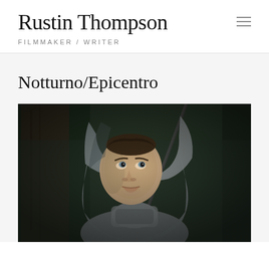Rustin Thompson FILMMAKER / WRITER
Notturno/Epicentro
[Figure (photo): A young male figure wearing a grey hoodie, looking upward with a serious expression, photographed in a dark forest setting with a diagonal element (possibly a weapon or stick) across the frame. Cinematic, moody lighting.]